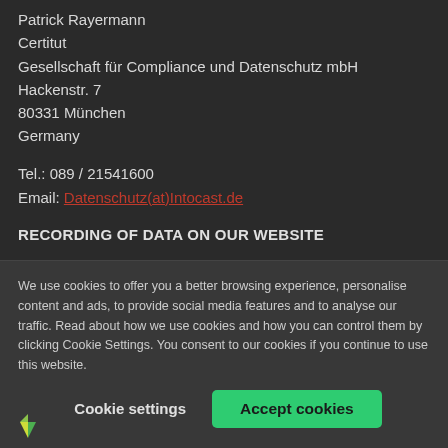Patrick Rayermann
Certitut
Gesellschaft für Compliance und Datenschutz mbH
Hackenstr. 7
80331 München
Germany
Tel.: 089 / 21541600
Email: Datenschutz(at)Intocast.de
RECORDING OF DATA ON OUR WEBSITE
We use cookies to offer you a better browsing experience, personalise content and ads, to provide social media features and to analyse our traffic. Read about how we use cookies and how you can control them by clicking Cookie Settings. You consent to our cookies if you continue to use this website.
Cookie settings    Accept cookies